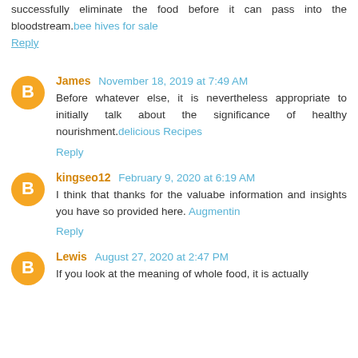successfully eliminate the food before it can pass into the bloodstream. bee hives for sale
Reply
James  November 18, 2019 at 7:49 AM
Before whatever else, it is nevertheless appropriate to initially talk about the significance of healthy nourishment. delicious Recipes
Reply
kingseo12  February 9, 2020 at 6:19 AM
I think that thanks for the valuabe information and insights you have so provided here. Augmentin
Reply
Lewis  August 27, 2020 at 2:47 PM
If you look at the meaning of whole food, it is actually